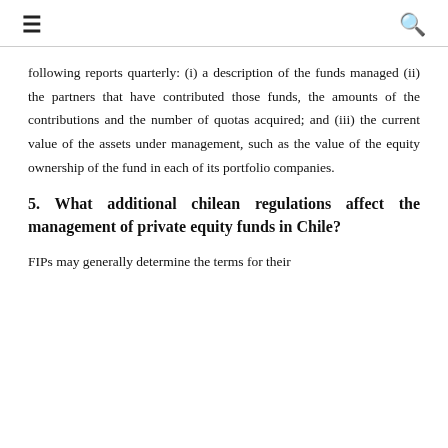≡  🔍
following reports quarterly: (i) a description of the funds managed (ii) the partners that have contributed those funds, the amounts of the contributions and the number of quotas acquired; and (iii) the current value of the assets under management, such as the value of the equity ownership of the fund in each of its portfolio companies.
5. What additional chilean regulations affect the management of private equity funds in Chile?
FIPs may generally determine the terms for their management, with few restrictions. One area of...